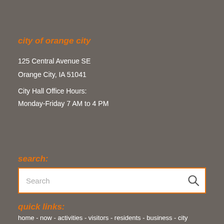city of orange city
125 Central Avenue SE
Orange City, IA 51041
City Hall Office Hours:
Monday-Friday 7 AM to 4 PM
search:
Search
quick links:
home - now - activities - visitors - residents - business - city